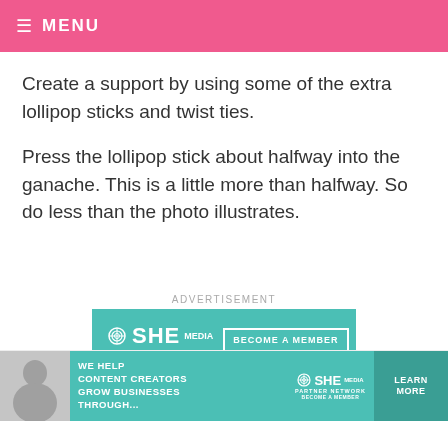≡ MENU
Create a support by using some of the extra lollipop sticks and twist ties.
Press the lollipop stick about halfway into the ganache. This is a little more than halfway. So do less than the photo illustrates.
ADVERTISEMENT
[Figure (other): SHE Media Partner Network advertisement banner with teal background, showing SHE Media logo, BECOME A MEMBER button, and 'Earning site & social' text]
[Figure (other): SHE Media bottom banner ad with woman photo, 'We help content creators grow businesses through...' text, SHE Partner Network logo, and LEARN MORE button]